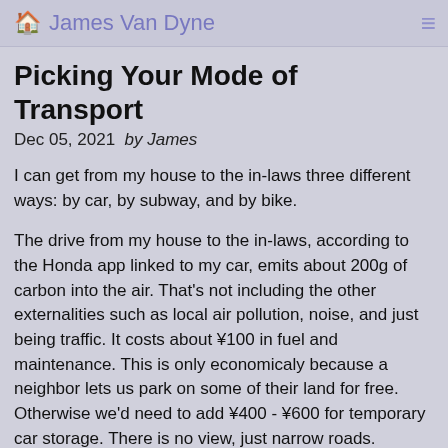🏠 James Van Dyne
Picking Your Mode of Transport
Dec 05, 2021  by James
I can get from my house to the in-laws three different ways: by car, by subway, and by bike.
The drive from my house to the in-laws, according to the Honda app linked to my car, emits about 200g of carbon into the air. That's not including the other externalities such as local air pollution, noise, and just being traffic. It costs about ¥100 in fuel and maintenance. This is only economicaly because a neighbor lets us park on some of their land for free. Otherwise we'd need to add ¥400 - ¥600 for temporary car storage. There is no view, just narrow roads. Depending on traffic, it takes about 20 - 30 minutes and I arrive feeling stressed.